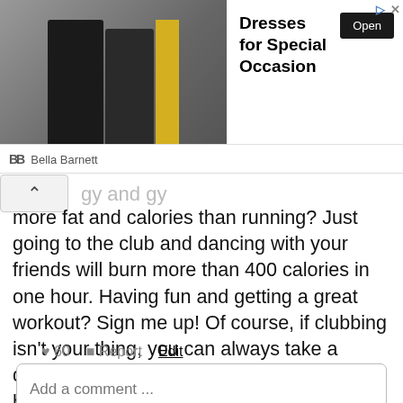[Figure (other): Advertisement banner for Bella Barnett showing dresses with Open button]
more fat and calories than running? Just going to the club and dancing with your friends will burn more than 400 calories in one hour. Having fun and getting a great workout? Sign me up! Of course, if clubbing isn't your thing, you can always take a dance class or shake it up to music at home. Have fun!
♥ 60   ▪ Report   Edit
Add a comment ...